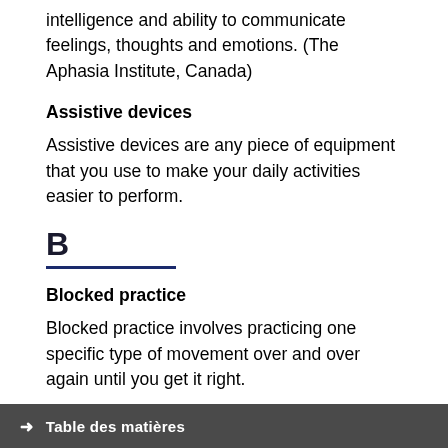intelligence and ability to communicate feelings, thoughts and emotions. (The Aphasia Institute, Canada)
Assistive devices
Assistive devices are any piece of equipment that you use to make your daily activities easier to perform.
B
Blocked practice
Blocked practice involves practicing one specific type of movement over and over again until you get it right.
Body functions
→ Table des matières